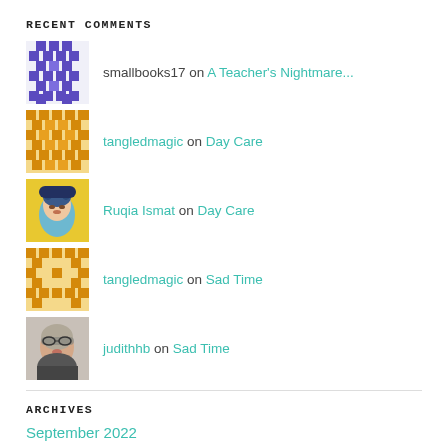RECENT COMMENTS
smallbooks17 on A Teacher's Nightmare...
tangledmagic on Day Care
Ruqia Ismat on Day Care
tangledmagic on Sad Time
judithhb on Sad Time
ARCHIVES
September 2022